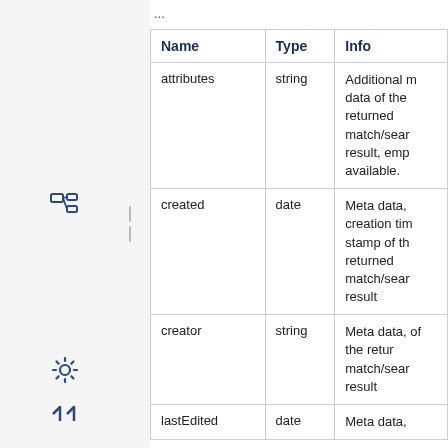...
| Name | Type | Info |
| --- | --- | --- |
| attributes | string | Additional metadata of the returned match/search result, empty if not available. |
| created | date | Meta data, creation time stamp of the returned match/search result |
| creator | string | Meta data, of the returned match/search result |
| lastEdited | date | Meta data, |